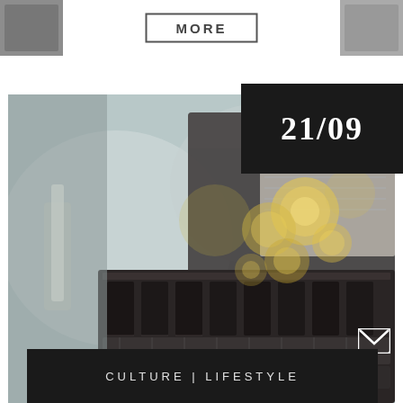[Figure (photo): Top strip with partial photos on left and right edges, and a MORE button in center]
MORE
[Figure (photo): Close-up blurred photo of a piano keyboard with bokeh gold/warm light circles, dark and moody atmosphere]
21/09
CULTURE | LIFESTYLE